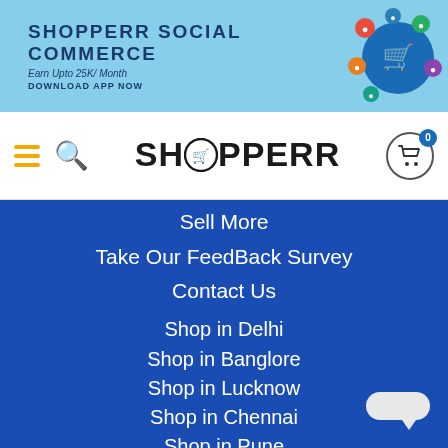SHOPPERR SOCIAL COMMERCE
Earn Upto 25K/ Month
DOWNLOAD APP NOW
[Figure (logo): Shopperr logo with shopping cart icon and social media icons]
Sell More
Take Our FeedBack Survey
Contact Us
Shop in Delhi
Shop in Banglore
Shop in Lucknow
Shop in Chennai
Shop in Pune
Blogs